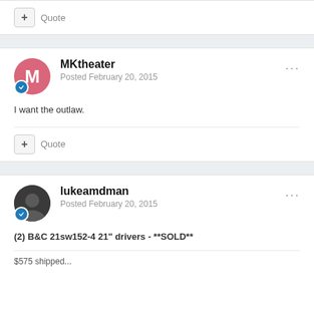+ Quote
MKtheater
Posted February 20, 2015
I want the outlaw.
+ Quote
lukeamdman
Posted February 20, 2015
(2) B&C 21sw152-4 21" drivers - **SOLD**
$575 shipped...